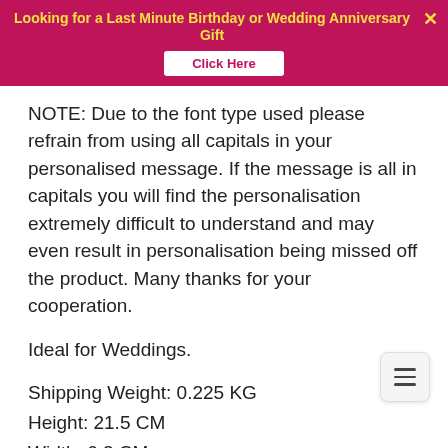Looking for a Last Minute Birthday or Wedding Anniversary Gift — Click Here
NOTE: Due to the font type used please refrain from using all capitals in your personalised message. If the message is all in capitals you will find the personalisation extremely difficult to understand and may even result in personalisation being missed off the product. Many thanks for your cooperation.
Ideal for Weddings.
Shipping Weight: 0.225 KG
Height: 21.5 CM
Width: 6.3 CM
Depth: 7 CM